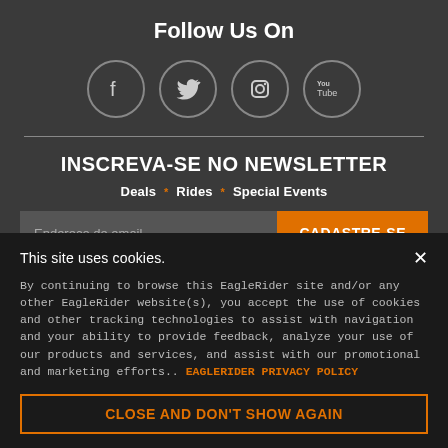Follow Us On
[Figure (illustration): Four social media icons in circles: Facebook, Twitter, Instagram, YouTube]
INSCREVA-SE NO NEWSLETTER
Deals * Rides * Special Events
Endereço de email  CADASTRE-SE
This site uses cookies.
By continuing to browse this EagleRider site and/or any other EagleRider website(s), you accept the use of cookies and other tracking technologies to assist with navigation and your ability to provide feedback, analyze your use of our products and services, and assist with our promotional and marketing efforts.. EAGLERIDER PRIVACY POLICY
CLOSE AND DON'T SHOW AGAIN